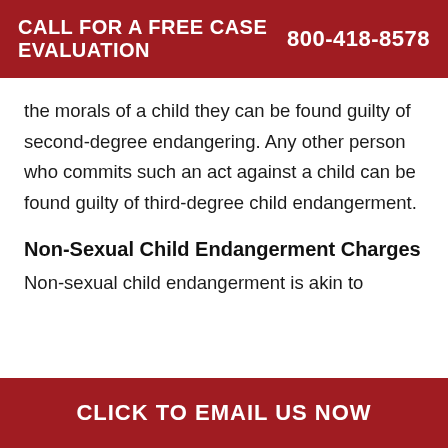CALL FOR A FREE CASE EVALUATION    800-418-8578
the morals of a child they can be found guilty of second-degree endangering. Any other person who commits such an act against a child can be found guilty of third-degree child endangerment.
Non-Sexual Child Endangerment Charges
Non-sexual child endangerment is akin to
CLICK TO EMAIL US NOW